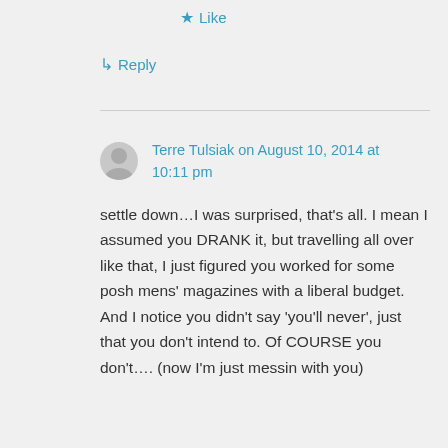★ Like
↳ Reply
Terre Tulsiak on August 10, 2014 at 10:11 pm
settle down…I was surprised, that's all. I mean I assumed you DRANK it, but travelling all over like that, I just figured you worked for some posh mens' magazines with a liberal budget. And I notice you didn't say 'you'll never', just that you don't intend to. Of COURSE you don't…. (now I'm just messin with you)